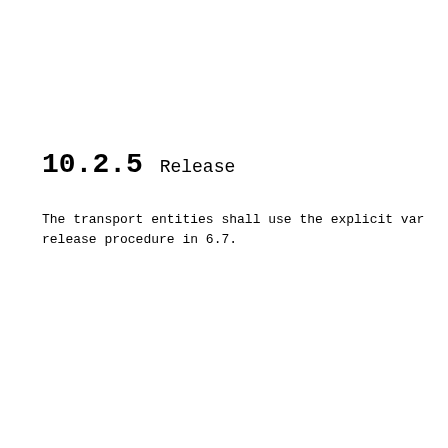10.2.5 Release
The transport entities shall use the explicit var release procedure in 6.7.